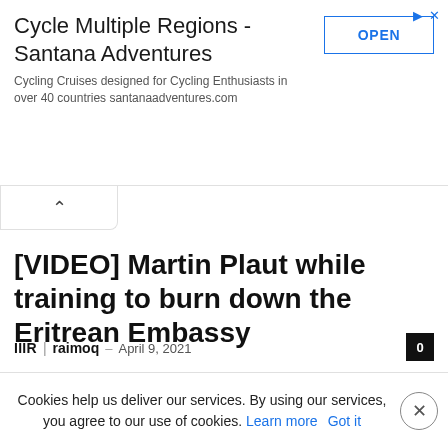[Figure (screenshot): Advertisement banner for Santana Adventures cycling cruises with an OPEN button]
[VIDEO] Martin Plaut while training to burn down the Eritrean Embassy
IIIR | raimoq – April 9, 2021
Cookies help us deliver our services. By using our services, you agree to our use of cookies. Learn more  Got it